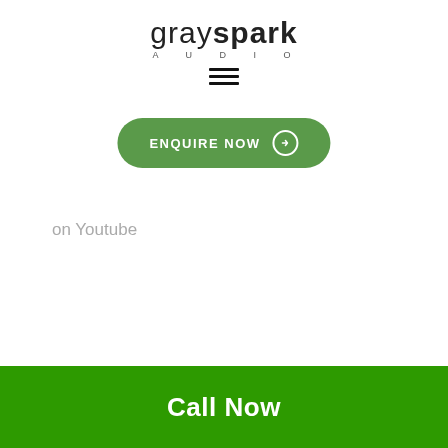grayspark AUDIO
[Figure (other): Hamburger menu icon with three horizontal lines]
[Figure (other): Green rounded button with text ENQUIRE NOW and arrow circle icon]
on Youtube
Call Now